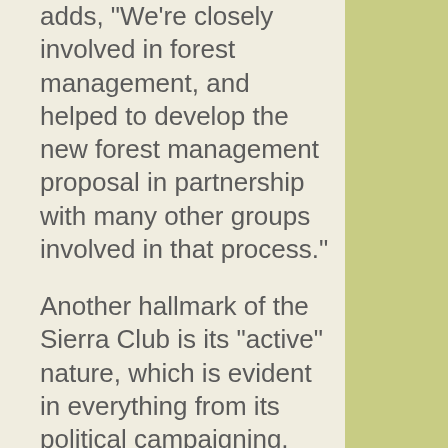adds, "We're closely involved in forest management, and helped to develop the new forest management proposal in partnership with many other groups involved in that process."

Another hallmark of the Sierra Club is its “active” nature, which is evident in everything from its political campaigning, organizing rallies and